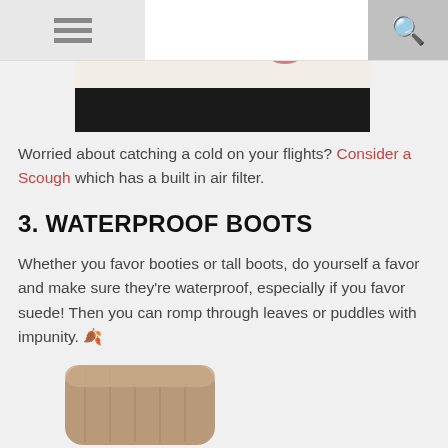[Figure (photo): Partial photo of a person wearing a white top and black skirt with a pink scarf, cropped at the top of the page]
Worried about catching a cold on your flights? Consider a Scough which has a built in air filter.
3. WATERPROOF BOOTS
Whether you favor booties or tall boots, do yourself a favor and make sure they're waterproof, especially if you favor suede! Then you can romp through leaves or puddles with impunity. 🍂
[Figure (photo): Partial photo of a brown suede bootie shoe, cropped at the bottom of the page]